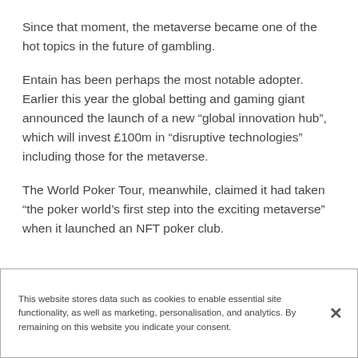Since that moment, the metaverse became one of the hot topics in the future of gambling.
Entain has been perhaps the most notable adopter. Earlier this year the global betting and gaming giant announced the launch of a new “global innovation hub”, which will invest £100m in “disruptive technologies” including those for the metaverse.
The World Poker Tour, meanwhile, claimed it had taken “the poker world’s first step into the exciting metaverse” when it launched an NFT poker club.
This website stores data such as cookies to enable essential site functionality, as well as marketing, personalisation, and analytics. By remaining on this website you indicate your consent.